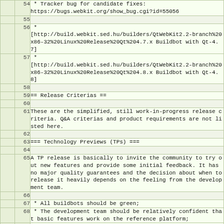|  | line | content |
| --- | --- | --- |
|  | 54 |  * Tracker bug for candidate fixes:
https://bugs.webkit.org/show_bug.cgi?id=55056 |
|  | 55 |  |
|  | 56 |  *
[http://build.webkit.sed.hu/builders/QtWebKit2.2-branch%20x86-32%20Linux%20Release%20Qt%204.7.x Buildbot with Qt-4.7] |
|  | 57 |  *
[http://build.webkit.sed.hu/builders/QtWebKit2.2-branch%20x86-32%20Linux%20Release%20Qt%204.8.x Buildbot with Qt-4.8] |
|  | 58 |  |
|  | 59 | == Release Criterias == |
|  | 60 |  |
|  | 61 | These are the simplified, still work-in-progress release criteria. Q&A criterias and product requirements are not listed here. |
|  | 62 |  |
|  | 63 | === Technology Previews (TPs) === |
|  | 64 |  |
|  | 65 | A TP release is basically to invite the community to try out new features and provide some initial feedback. It has no major quality guarantees and the decision about when to release it heavily depends on the feeling from the development team. |
|  | 66 |  |
|  | 67 |  * All buildbots should be green; |
|  | 68 |  * The development team should be relatively confident that basic features work on the reference platform; |
|  | 69 |  * The code builds and pass through a basic [http://en.wikipedia.org/wiki/Smoke_testing smoke test] on all Tier 1 platforms; |
|  | 70 |  |
|  | 71 | === Betas === |